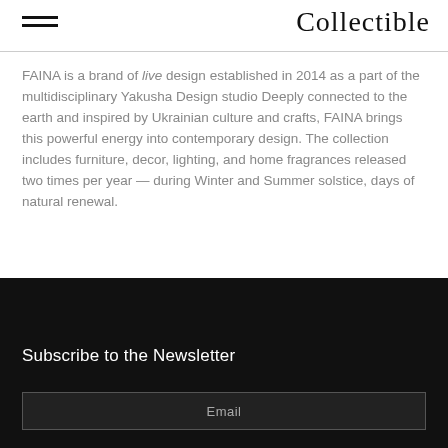Collectible
FAINA is a brand of live design established in 2014 as a part of the multidisciplinary Yakusha Design studio Deeply connected to the earth and inspired by Ukrainian culture and crafts, FAINA brings this powerful energy into contemporary design. The collection includes furniture, decor, lighting, and home fragrances released two times per year — during Winter and Summer solstice, days of natural renewal.
Subscribe to the Newsletter